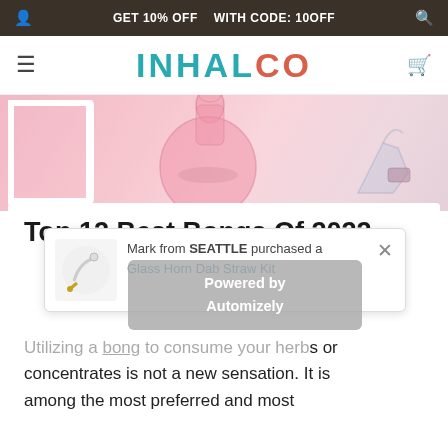GET 10% OFF  WITH CODE: 10OFF
INHALCO
[Figure (photo): Pink background with glass bong/smoking pipe products arranged on a pink surface with white frames]
Top 12 Best Bongs Of 2022
Mark from SEATTLE purchased a Glass Horn Dab Straw Kit
Powered by Automizely
Utilizing a bong to consume your herbs or concentrates is not a new sensation. It is among the most preferred and most